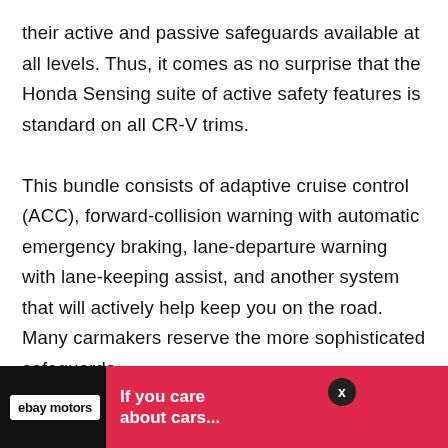their active and passive safeguards available at all levels. Thus, it comes as no surprise that the Honda Sensing suite of active safety features is standard on all CR-V trims.

This bundle consists of adaptive cruise control (ACC), forward-collision warning with automatic emergency braking, lane-departure warning with lane-keeping assist, and another system that will actively help keep you on the road. Many carmakers reserve the more sophisticated safeguards
[Figure (other): eBay Motors advertisement banner with red background showing text 'If you care about cars...' and ebay motors logo, with a close button]